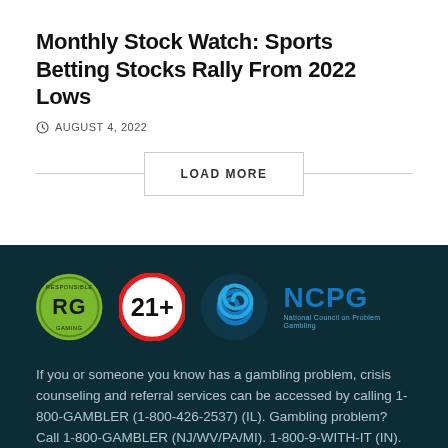Monthly Stock Watch: Sports Betting Stocks Rally From 2022 Lows
AUGUST 4, 2022
LOAD MORE
[Figure (logo): RG Responsible Gaming logo, 21+ age restriction logo, NCPG National Council on Problem Gambling logo]
If you or someone you know has a gambling problem, crisis counseling and referral services can be accessed by calling 1-800-GAMBLER (1-800-426-2537) (IL). Gambling problem? Call 1-800-GAMBLER (NJ/WV/PA/MI). 1-800-9-WITH-IT (IN). 1-800-